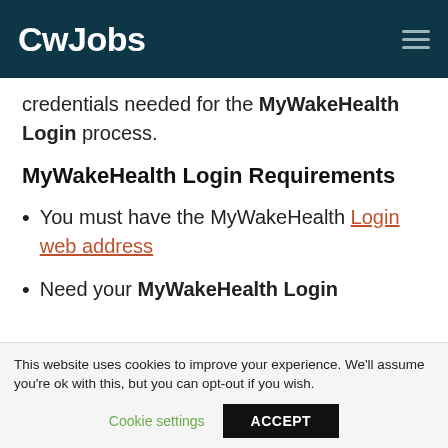CwJobs
credentials needed for the MyWakeHealth Login process.
MyWakeHealth Login Requirements
You must have the MyWakeHealth Login web address
Need your MyWakeHealth Login
This website uses cookies to improve your experience. We'll assume you're ok with this, but you can opt-out if you wish.
Cookie settings | ACCEPT